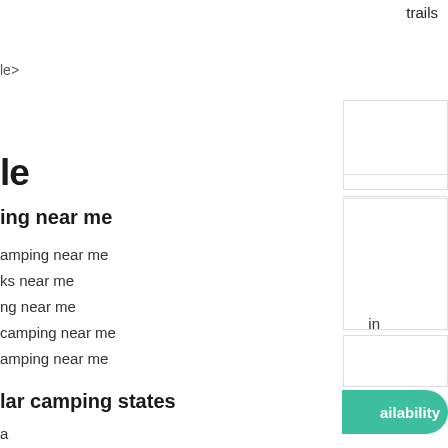trails
le>
le
ing near me
amping near me
ks near me
ng near me
camping near me
amping near me
lar camping states
a
o
in
ailability